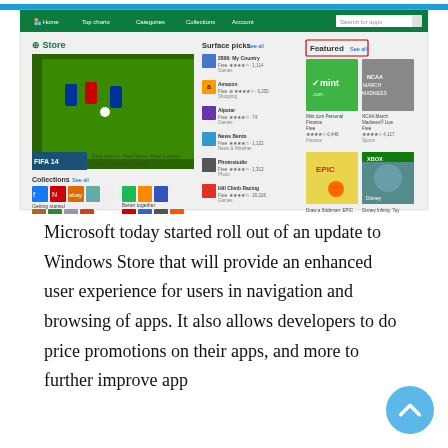[Figure (screenshot): Screenshot of Windows Store interface showing Surface picks, Featured apps, Collections sections with various app icons and game thumbnails including FIFA 14, Amazon, Alpstar, News Bento, Photostudio, Hill Climb Racing, Mint.com, NCAA March Madness, Draw a Stickman EPIC, Disney Infinity, CNN App.]
Microsoft today started roll out of an update to Windows Store that will provide an enhanced user experience for users in navigation and browsing of apps. It also allows developers to do price promotions on their apps, and more to further improve app